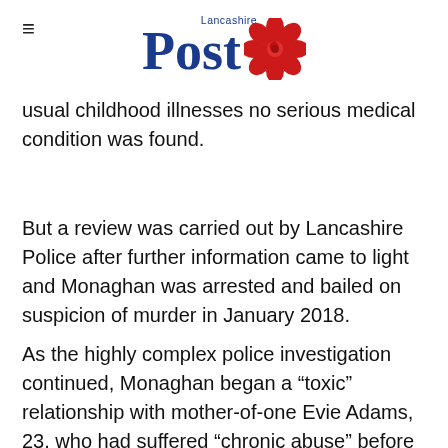Lancashire Post
usual childhood illnesses no serious medical condition was found.
But a review was carried out by Lancashire Police after further information came to light and Monaghan was arrested and bailed on suspicion of murder in January 2018.
As the highly complex police investigation continued, Monaghan began a “toxic” relationship with mother-of-one Evie Adams, 23, who had suffered “chronic abuse” before